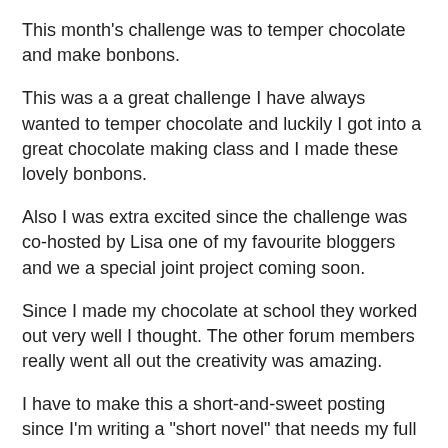This month's challenge was to temper chocolate and make bonbons.
This was a a great challenge I have always wanted to temper chocolate and luckily I got into a great chocolate making class and I made these lovely bonbons.
Also I was extra excited since the challenge was co-hosted by Lisa one of my favourite bloggers and we a special joint project coming soon.
Since I made my chocolate at school they worked out very well I thought. The other forum members really went all out the creativity was amazing.
I have to make this a short-and-sweet posting since I'm writing a "short novel" that needs my full attention at the moment.
Blog-checking lines:
The August 2011 Daring Bakers' Challenge was hosted by Lisa of Parsley, Sage, Desserts and Line Drive and Mandy of…